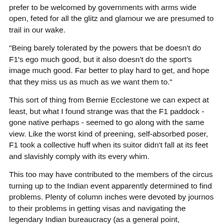prefer to be welcomed by governments with arms wide open, feted for all the glitz and glamour we are presumed to trail in our wake.
"Being barely tolerated by the powers that be doesn't do F1's ego much good, but it also doesn't do the sport's image much good. Far better to play hard to get, and hope that they miss us as much as we want them to."
This sort of thing from Bernie Ecclestone we can expect at least, but what I found strange was that the F1 paddock - gone native perhaps - seemed to go along with the same view. Like the worst kind of preening, self-absorbed poser, F1 took a collective huff when its suitor didn't fall at its feet and slavishly comply with its every whim.
This too may have contributed to the members of the circus turning up to the Indian event apparently determined to find problems. Plenty of column inches were devoted by journos to their problems in getting visas and navigating the legendary Indian bureaucracy (as a general point, journalists' obsession with themselves in what they write about - as if...